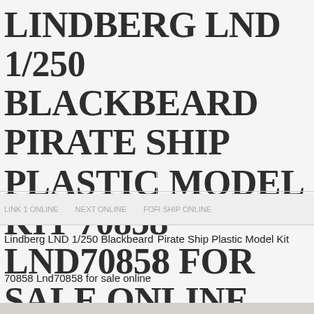LINDBERG LND 1/250 BLACKBEARD PIRATE SHIP PLASTIC MODEL KIT 70858 LND70858 FOR SALE ONLINE
Lindberg LND 1/250 Blackbeard Pirate Ship Plastic Model Kit
70858 Lnd70858 for sale online